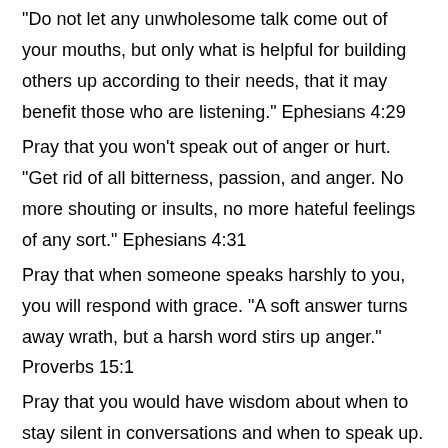“Do not let any unwholesome talk come out of your mouths, but only what is helpful for building others up according to their needs, that it may benefit those who are listening.” Ephesians 4:29
Pray that you won’t speak out of anger or hurt. “Get rid of all bitterness, passion, and anger. No more shouting or insults, no more hateful feelings of any sort.” Ephesians 4:31
Pray that when someone speaks harshly to you, you will respond with grace. “A soft answer turns away wrath, but a harsh word stirs up anger.” Proverbs 15:1
Pray that you would have wisdom about when to stay silent in conversations and when to speak up. “But keep away from foolish and ignorant arguments; you know that they end up in quarrels. As the Lord’s servant, you must not quarrel. You must be kind toward all, a good and patient teacher, who is gentle as you correct your opponents, for it may be that God